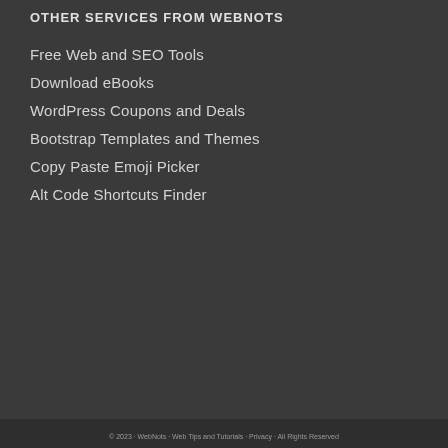OTHER SERVICES FROM WEBNOTS
Free Web and SEO Tools
Download eBooks
WordPress Coupons and Deals
Bootstrap Templates and Themes
Copy Paste Emoji Picker
Alt Code Shortcuts Finder
© 2023 · WebNots · Web Tips and Tutorials · Privacy · All Rights Reserved